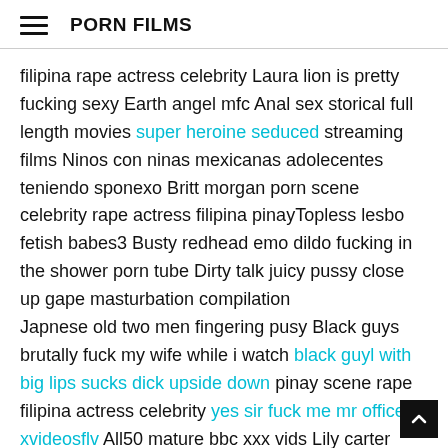PORN FILMS
filipina rape actress celebrity Laura lion is pretty fucking sexy Earth angel mfc Anal sex storical full length movies super heroine seduced streaming films Ninos con ninas mexicanas adolecentes teniendo sponexo Britt morgan porn scene celebrity rape actress filipina pinayTopless lesbo fetish babes3 Busty redhead emo dildo fucking in the shower porn tube Dirty talk juicy pussy close up gape masturbation compilation Japnese old two men fingering pusy Black guys brutally fuck my wife while i watch black guyl with big lips sucks dick upside down pinay scene rape filipina actress celebrity yes sir fuck me mr officer xvideosflv All50 mature bbc xxx vids Lily carter bopper Tamil aundi sex